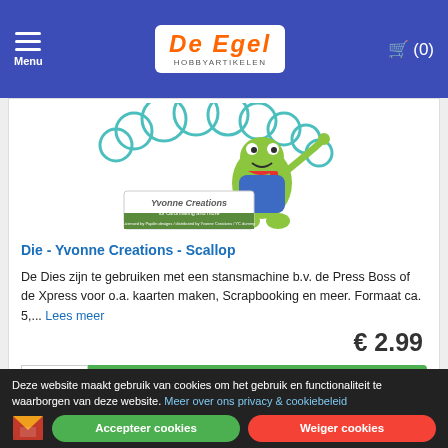De Egel Hobbyartikelen — Menu | Cart (0)
[Figure (logo): Yvonne Creations logo with a frog character and decorative scallop border, for cardmaking and more]
Die - Yvonne Creations - Scallop
De Dies zijn te gebruiken met een stansmachine b.v. de Press Boss of de Xpress voor o.a. kaarten maken, Scrapbooking en meer. Formaat ca. 5,... Lees meer
€ 2.99
Nu bestellen
Deze website maakt gebruik van cookies om het gebruik en functionaliteit te waarborgen van deze website. Meer over ons privacy & cookiebeleid
Accepteer cookies | Weiger cookies